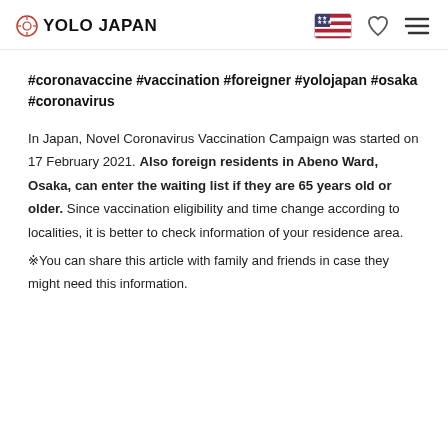YOLO JAPAN
#coronavaccine  #vaccination #foreigner #yolojapan #osaka #coronavirus
In Japan, Novel Coronavirus Vaccination Campaign was started on 17 February 2021. Also foreign residents in Abeno Ward, Osaka, can enter the waiting list if they are 65 years old or older. Since vaccination eligibility and time change according to localities, it is better to check information of your residence area.
※You can share this article with family and friends in case they might need this information.